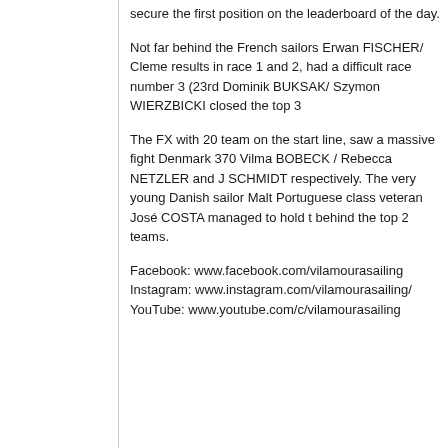secure the first position on the leaderboard of the day.
Not far behind the French sailors Erwan FISCHER/ Cleme... results in race 1 and 2, had a difficult race number 3 (23rd... Dominik BUKSAK/ Szymon WIERZBICKI closed the top 3
The FX with 20 team on the start line, saw a massive fight... Denmark 370 Vilma BOBECK / Rebecca NETZLER and J... SCHMIDT respectively. The very young Danish sailor Malt... Portuguese class veteran José COSTA managed to hold t... behind the top 2 teams.
Facebook: www.facebook.com/vilamourasailing
Instagram: www.instagram.com/vilamourasailing/
YouTube: www.youtube.com/c/vilamourasailing